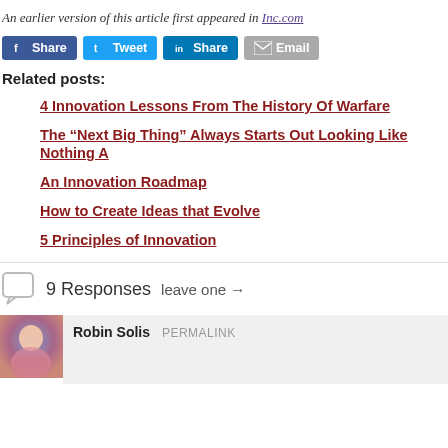An earlier version of this article first appeared in Inc.com
[Figure (other): Social share buttons: Facebook Share, Twitter Tweet, LinkedIn Share, Email]
Related posts:
4 Innovation Lessons From The History Of Warfare
The “Next Big Thing” Always Starts Out Looking Like Nothing A…
An Innovation Roadmap
How to Create Ideas that Evolve
5 Principles of Innovation
9 Responses  leave one →
Robin Solis  PERMALINK